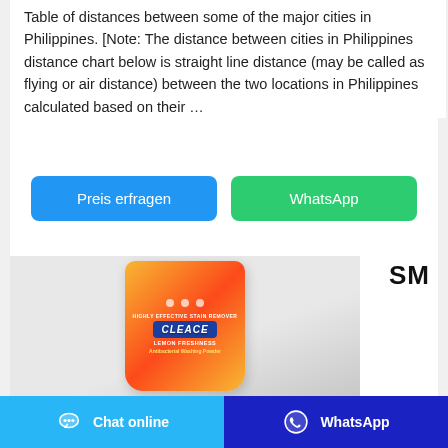Table of distances between some of the major cities in Philippines. [Note: The distance between cities in Philippines distance chart below is straight line distance (may be called as flying or air distance) between the two locations in Philippines calculated based on their …
[Figure (screenshot): Blue button labeled 'Preis erfragen' and green button labeled 'WhatsApp']
SM
[Figure (photo): Product photo of Cleace Lemon Freshness antibacterial washing powder detergent bag with orange/yellow packaging]
[Figure (screenshot): Footer bar with 'Chat online' button on light blue background and 'WhatsApp' button on dark blue background]